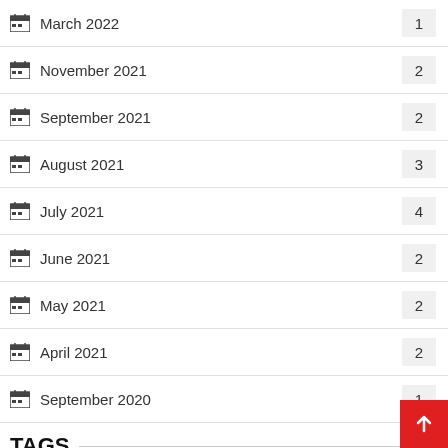March 2022 — 1
November 2021 — 2
September 2021 — 2
August 2021 — 3
July 2021 — 4
June 2021 — 2
May 2021 — 2
April 2021 — 2
September 2020 — 1
TAGS
Camera
Modeling
Photo
Photo Booth
Photographer
Photography